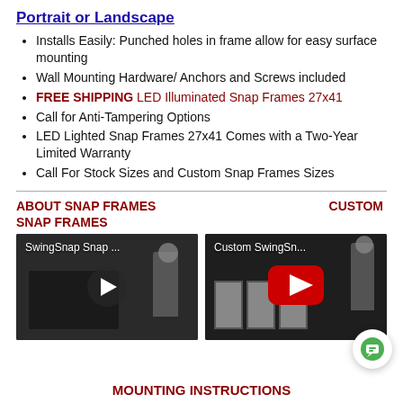Portrait or Landscape
Installs Easily: Punched holes in frame allow for easy surface mounting
Wall Mounting Hardware/ Anchors and Screws included
FREE SHIPPING LED Illuminated Snap Frames 27x41
Call for Anti-Tampering Options
LED Lighted Snap Frames 27x41 Comes with a Two-Year Limited Warranty
Call For Stock Sizes and Custom Snap Frames Sizes
ABOUT SNAP FRAMES     CUSTOM SNAP FRAMES
[Figure (screenshot): YouTube video thumbnail showing a person mounting a snap frame, with play button. Title: SwingSnap Snap ...]
[Figure (screenshot): YouTube video thumbnail showing a person near frames on wall, with red YouTube play button. Title: Custom SwingSn...]
MOUNTING INSTRUCTIONS